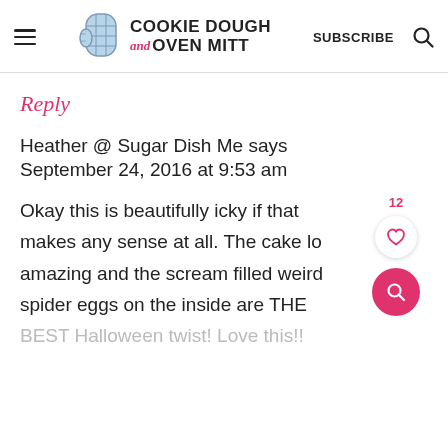Cookie Dough and Oven Mitt — SUBSCRIBE
Reply
Heather @ Sugar Dish Me says
September 24, 2016 at 9:53 am
Okay this is beautifully icky if that makes any sense at all. The cake looks amazing and the scream filled weird spider eggs on the inside are THE BEST Halloween twist! Love this!!